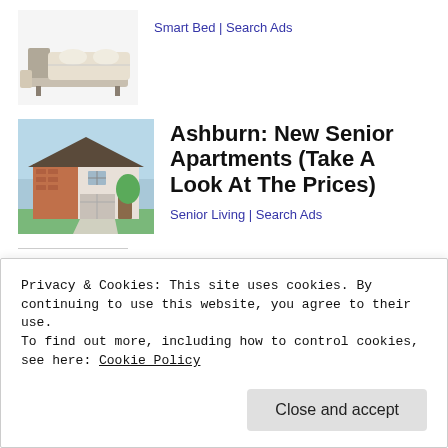[Figure (photo): Smart bed / furniture product image]
Smart Bed | Search Ads
[Figure (photo): Modern house exterior with brick and siding]
Ashburn: New Senior Apartments (Take A Look At The Prices)
Senior Living | Search Ads
Share this:
Tweet  Email  Save
Privacy & Cookies: This site uses cookies. By continuing to use this website, you agree to their use.
To find out more, including how to control cookies, see here: Cookie Policy
Close and accept